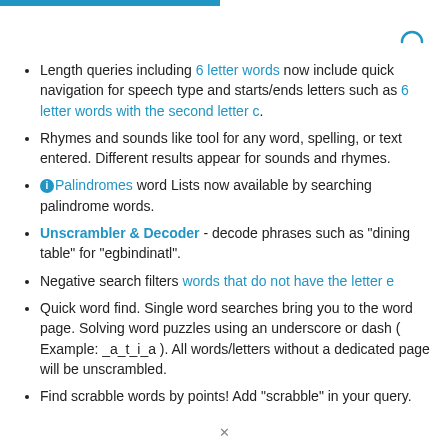Length queries including 6 letter words now include quick navigation for speech type and starts/ends letters such as 6 letter words with the second letter c.
Rhymes and sounds like tool for any word, spelling, or text entered. Different results appear for sounds and rhymes.
ⓘPalindromes word Lists now available by searching palindrome words.
Unscrambler & Decoder - decode phrases such as "dining table" for "egbindinatl".
Negative search filters words that do not have the letter e
Quick word find. Single word searches bring you to the word page. Solving word puzzles using an underscore or dash ( Example: _a_t_i_a ). All words/letters without a dedicated page will be unscrambled.
Find scrabble words by points! Add "scrabble" in your query.